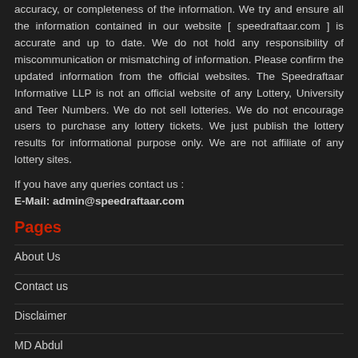accuracy, or completeness of the information. We try and ensure all the information contained in our website [ speedraftaar.com ] is accurate and up to date. We do not hold any responsibility of miscommunication or mismatching of information. Please confirm the updated information from the official websites. The Speedraftaar Informative LLP is not an official website of any Lottery, University and Teer Numbers. We do not sell lotteries. We do not encourage users to purchase any lottery tickets. We just publish the lottery results for informational purpose only. We are not affiliate of any lottery sites.
If you have any queries contact us :
E-Mail: admin@speedraftaar.com
Pages
About Us
Contact us
Disclaimer
MD Abdul